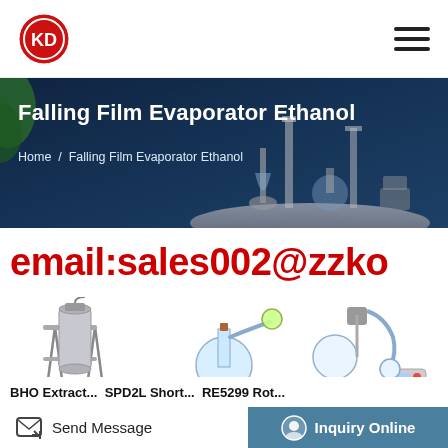KD logo / hamburger menu
[Figure (screenshot): Banner hero image with lab equipment and Falling Film Evaporator Ethanol title]
Falling Film Evaporator Ethanol
Home / Falling Film Evaporator Ethanol
email:sales002@zzko
[Figure (photo): Three laboratory product images: BHO Extractor, SPD2L Short Path, RE5299 Rotary Evaporator]
BHO Extract...  SPD2L Short...  RE5299 Rot...
Send Message
Inquiry Online